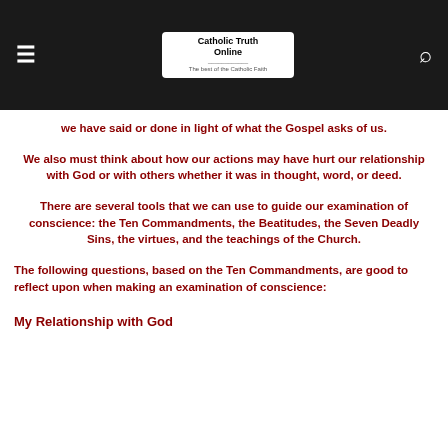Catholic Truth Online
we have said or done in light of what the Gospel asks of us.
We also must think about how our actions may have hurt our relationship with God or with others whether it was in thought, word, or deed.
There are several tools that we can use to guide our examination of conscience: the Ten Commandments, the Beatitudes, the Seven Deadly Sins, the virtues, and the teachings of the Church.
The following questions, based on the Ten Commandments, are good to reflect upon when making an examination of conscience:
My Relationship with God